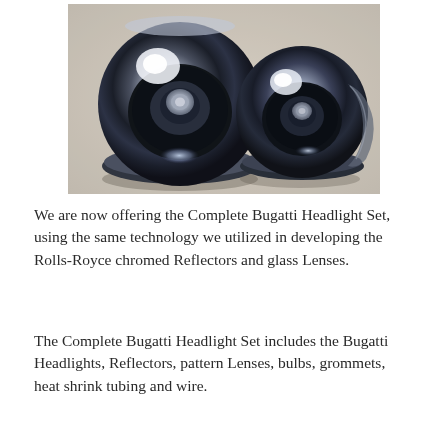[Figure (photo): Two chrome bowl-shaped headlight reflectors photographed from the front on a light beige/granite surface. The left reflector is slightly larger and more rounded, the right one shows more of the chrome body. Both have a central mounting hole and show bright chrome reflections.]
We are now offering the Complete Bugatti Headlight Set, using the same technology we utilized in developing the Rolls-Royce chromed Reflectors and glass Lenses.
The Complete Bugatti Headlight Set includes the Bugatti Headlights, Reflectors, pattern Lenses, bulbs, grommets, heat shrink tubing and wire.